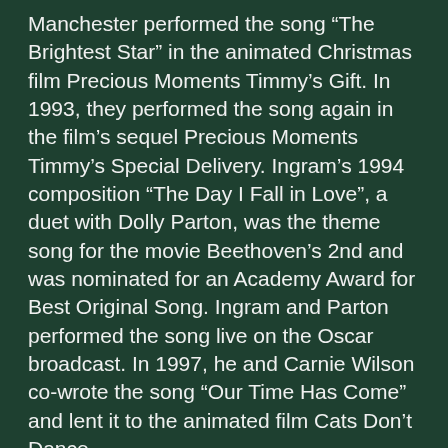Manchester performed the song “The Brightest Star” in the animated Christmas film Precious Moments Timmy’s Gift. In 1993, they performed the song again in the film’s sequel Precious Moments Timmy’s Special Delivery. Ingram’s 1994 composition “The Day I Fall in Love”, a duet with Dolly Parton, was the theme song for the movie Beethoven’s 2nd and was nominated for an Academy Award for Best Original Song. Ingram and Parton performed the song live on the Oscar broadcast. In 1997, he and Carnie Wilson co-wrote the song “Our Time Has Come” and lent it to the animated film Cats Don’t Dance.
During the summer of 2004, Ingram participated in the U.S. television reality show Celebrity Duets as a duet partner. The show combined professional vocalists, of various musical genres, with entertainers of different backgrounds in a weekly elimination competition. In 2006, Ingram and neo-soul singer Angie Stone teamed up on “My People”. In 2011, Ingram joined Cliff Richard’s list of special guest performers on his Soulicious Tour performing at various UK venues during November. He sang two songs from the album with Richard, as well a solo of “Just Once”. In 2012, Ingram appeared as himself in the ABC television show Suburgatory, in the episode “The Motherload”. Also in 2012, he was a guest vocalist at Debbie Allen’s October 13 live show at the